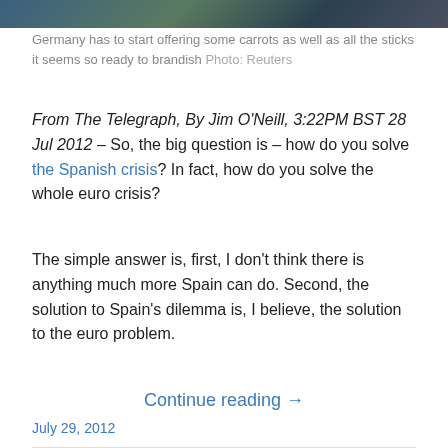[Figure (photo): Photograph strip at top of page showing people, partially cropped]
Germany has to start offering some carrots as well as all the sticks it seems so ready to brandish Photo: Reuters
From The Telegraph, By Jim O'Neill, 3:22PM BST 28 Jul 2012 – So, the big question is – how do you solve the Spanish crisis? In fact, how do you solve the whole euro crisis?
The simple answer is, first, I don't think there is anything much more Spain can do. Second, the solution to Spain's dilemma is, I believe, the solution to the euro problem.
Continue reading →
July 29, 2012